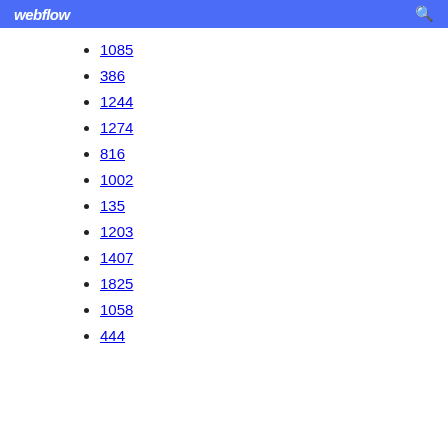webflow
1085
386
1244
1274
816
1002
135
1203
1407
1825
1058
444